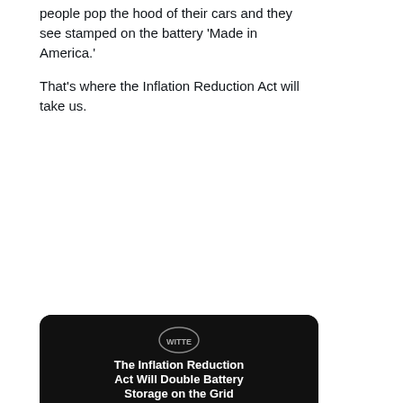people pop the hood of their cars and they see stamped on the battery 'Made in America.'

That's where the Inflation Reduction Act will take us.
[Figure (bar-chart): Bar chart on dark background showing battery storage capacity. Three battery-shaped bars: 160 (red, 2021), ~1050 (yellow-green, 2030 without IRA), 2300 (green, 2030 with IRA). Y-axis goes 0 to 2,500. Logo at top center. Video play button overlay. Footnote: Estimates based on Department of Energy analysis using JCC21 data.]
4K    20K
Eric Folke...